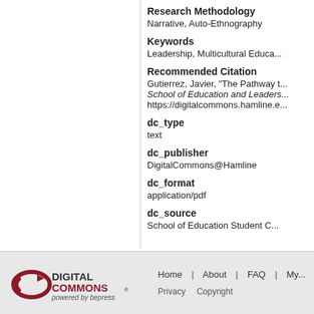Research Methodology
Narrative, Auto-Ethnography
Keywords
Leadership, Multicultural Educa...
Recommended Citation
Gutierrez, Javier, "The Pathway t... School of Education and Leaders... https://digitalcommons.hamline.e...
dc_type
text
dc_publisher
DigitalCommons@Hamline
dc_format
application/pdf
dc_source
School of Education Student C...
[Figure (logo): DigitalCommons powered by bepress logo]
Home | About | FAQ | My... | Privacy | Copyright